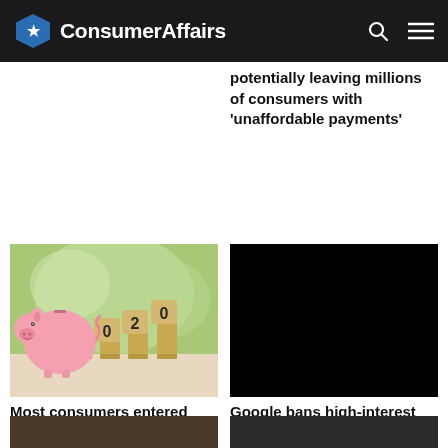ConsumerAffairs
potentially leaving millions of consumers with 'unaffordable payments'
[Figure (photo): Pink piggy bank with wooden blocks showing '2020' on stacks of coins, green bokeh background]
[Figure (photo): Black/dark image thumbnail]
Most consumers entered 2020 stressed out over debt, survey finds
Google bans high-interest payday loan apps from Play Store
[Figure (photo): Partial article image at bottom left]
[Figure (photo): Partial article image at bottom right]